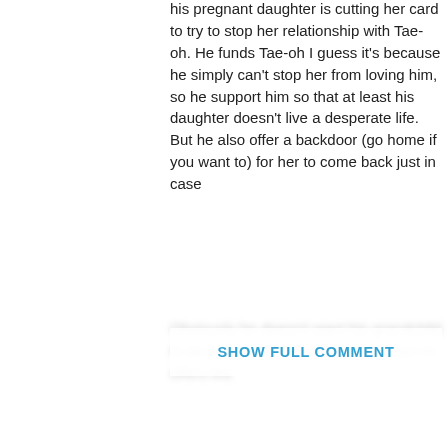his pregnant daughter is cutting her card to try to stop her relationship with Tae-oh. He funds Tae-oh I guess it's because he simply can't stop her from loving him, so he support him so that at least his daughter doesn't live a desperate life. But he also offer a backdoor (go home if you want to) for her to come back just in case
Obviously he doesn't want his grandchild to disappear from his life, but at least he offers the
SHOW FULL COMMENT
1   REPLY   6
Rei
April 26, 2020 at 10:52 PM
Yes Chairman Yeo may not be a villain in the sense of killing off innocent people to get more wealth or involved in vices.
Yes he loves his daughter but even the most